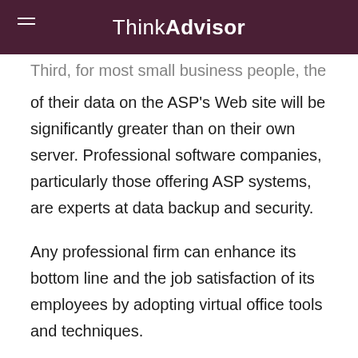ThinkAdvisor
Third, for most small business people, the security of their data on the ASP's Web site will be significantly greater than on their own server. Professional software companies, particularly those offering ASP systems, are experts at data backup and security.
Any professional firm can enhance its bottom line and the job satisfaction of its employees by adopting virtual office tools and techniques.
What it must do is convert physical to digital records (i.e., create the paperless office); convert employees to VWPs; create systems to accommodate offsite VWPs (i.e., secure means of